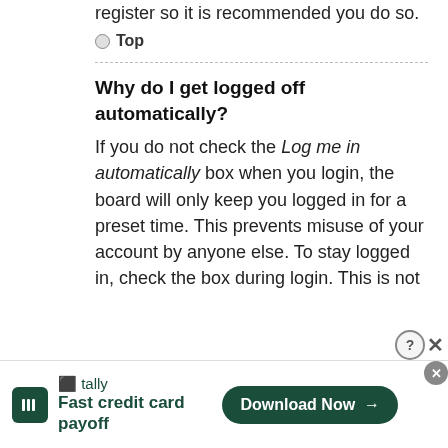register so it is recommended you do so.
◦ Top
Why do I get logged off automatically?
If you do not check the Log me in automatically box when you login, the board will only keep you logged in for a preset time. This prevents misuse of your account by anyone else. To stay logged in, check the box during login. This is not
[Figure (other): Tally app advertisement banner: 'Fast credit card payoff' with Download Now button]